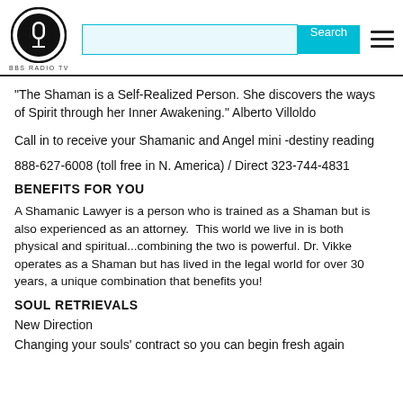BBS RADIO TV
"The Shaman is a Self-Realized Person. She discovers the ways of Spirit through her Inner Awakening." Alberto Villoldo
Call in to receive your Shamanic and Angel mini -destiny reading
888-627-6008 (toll free in N. America) / Direct 323-744-4831
BENEFITS FOR YOU
A Shamanic Lawyer is a person who is trained as a Shaman but is also experienced as an attorney.  This world we live in is both physical and spiritual...combining the two is powerful. Dr. Vikke operates as a Shaman but has lived in the legal world for over 30 years, a unique combination that benefits you!
SOUL RETRIEVALS
New Direction
Changing your souls' contract so you can begin fresh again